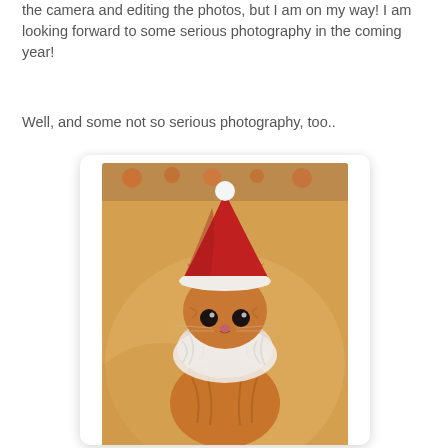the camera and editing the photos, but I am on my way! I am looking forward to some serious photography in the coming year!
Well, and some not so serious photography, too..
[Figure (photo): A cat wearing a red Santa Claus hat with white fluffy trim and a white fluffy collar/beard, sitting and looking at the camera. The background is warm golden/beige tones. The cat is an orange tabby kitten with large dark eyes.]